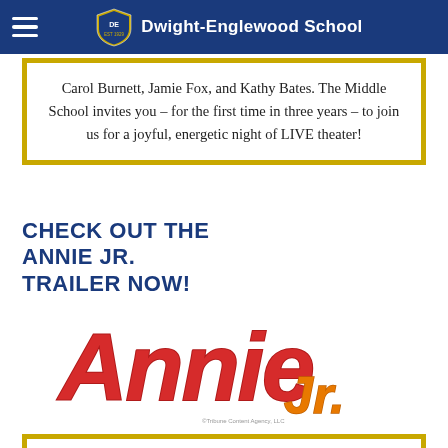Dwight-Englewood School
Carol Burnett, Jamie Fox, and Kathy Bates. The Middle School invites you – for the first time in three years – to join us for a joyful, energetic night of LIVE theater!
CHECK OUT THE ANNIE JR. TRAILER NOW!
[Figure (logo): Annie Jr. musical logo — 'Annie' in large red rounded letters with 'Jr.' in orange, styled as the official Annie Jr. musical logo]